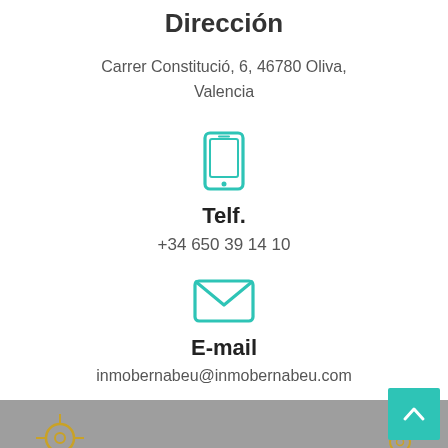Dirección
Carrer Constitució, 6, 46780 Oliva, Valencia
[Figure (illustration): Teal smartphone/tablet icon]
Telf.
+34 650 39 14 10
[Figure (illustration): Teal email envelope icon]
E-mail
inmobernabeu@inmobernabeu.com